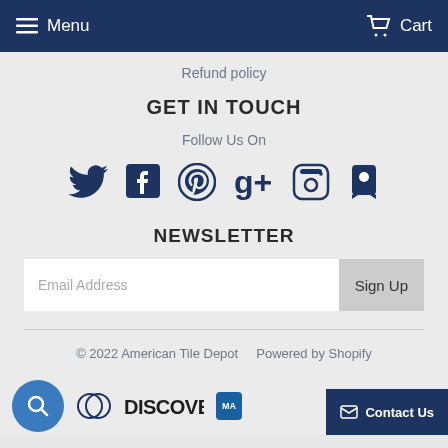Menu   Cart
Refund policy
GET IN TOUCH
Follow Us On
[Figure (illustration): Social media icons: Twitter, Facebook, Pinterest, Google+, Instagram, and a bookmark/pin icon, all in dark navy blue color.]
NEWSLETTER
Email Address   Sign Up
© 2022 American Tile Depot    Powered by Shopify
[Figure (illustration): Bottom bar with a blue search circle button, Diners Club card icon, Discover card logo, and a partial Mastercard icon. A Contact Us button appears bottom right.]